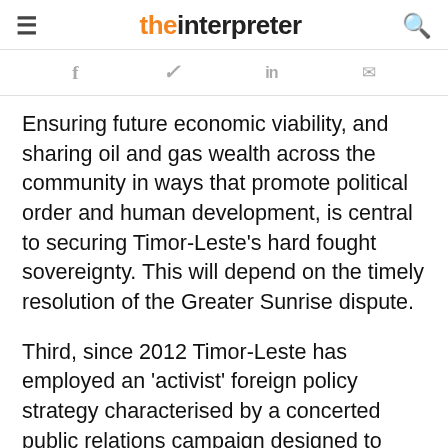the interpreter
Ensuring future economic viability, and sharing oil and gas wealth across the community in ways that promote political order and human development, is central to securing Timor-Leste's hard fought sovereignty. This will depend on the timely resolution of the Greater Sunrise dispute.
Third, since 2012 Timor-Leste has employed an 'activist' foreign policy strategy characterised by a concerted public relations campaign designed to change Australia's Timor Sea policies through grassroots public pressure. Yet Australia's Timor Sea history provides little basis for optimism for a